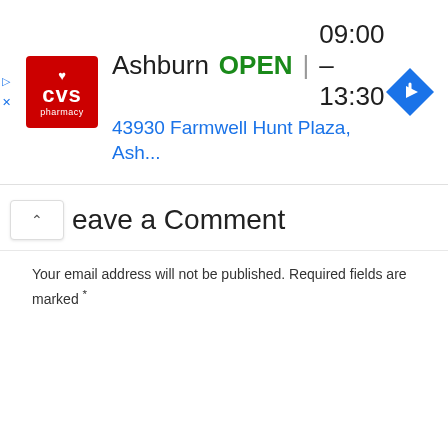[Figure (screenshot): CVS Pharmacy ad banner showing Ashburn location: OPEN 09:00 – 13:30, 43930 Farmwell Hunt Plaza, Ash... with CVS logo and navigation arrow icon]
Leave a Comment
Your email address will not be published. Required fields are marked *
[Figure (screenshot): Comment text area input box with placeholder text 'Type here..' and a resize handle in the bottom right corner]